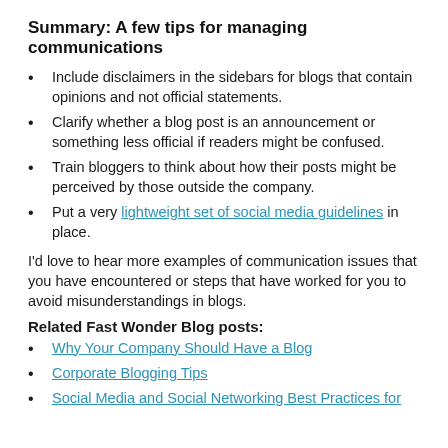Summary: A few tips for managing communications
Include disclaimers in the sidebars for blogs that contain opinions and not official statements.
Clarify whether a blog post is an announcement or something less official if readers might be confused.
Train bloggers to think about how their posts might be perceived by those outside the company.
Put a very lightweight set of social media guidelines in place.
I'd love to hear more examples of communication issues that you have encountered or steps that have worked for you to avoid misunderstandings in blogs.
Related Fast Wonder Blog posts:
Why Your Company Should Have a Blog
Corporate Blogging Tips
Social Media and Social Networking Best Practices for